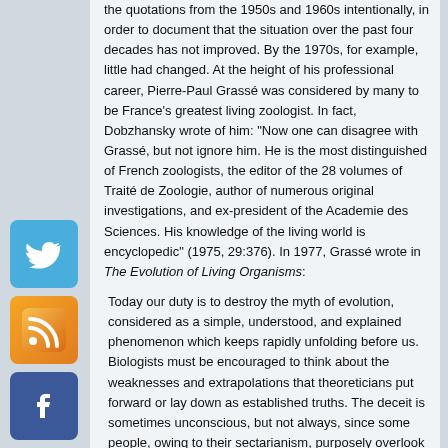the quotations from the 1950s and 1960s intentionally, in order to document that the situation over the past four decades has not improved. By the 1970s, for example, little had changed. At the height of his professional career, Pierre-Paul Grassé was considered by many to be France's greatest living zoologist. In fact, Dobzhansky wrote of him: "Now one can disagree with Grassé, but not ignore him. He is the most distinguished of French zoologists, the editor of the 28 volumes of Traité de Zoologie, author of numerous original investigations, and ex-president of the Academie des Sciences. His knowledge of the living world is encyclopedic" (1975, 29:376). In 1977, Grassé wrote in The Evolution of Living Organisms:
Today our duty is to destroy the myth of evolution, considered as a simple, understood, and explained phenomenon which keeps rapidly unfolding before us. Biologists must be encouraged to think about the weaknesses and extrapolations that theoreticians put forward or lay down as established truths. The deceit is sometimes unconscious, but not always, since some people, owing to their sectarianism, purposely overlook reality and refuse to acknowledge the inadequacies and falsity of their beliefs.
Their success among certain biologists, philosophers, and sociologists notwithstanding, the explanatory doctrines of biological evolution do not stand up to an objective, in-depth criticism. They prove to be either in conflict with reality or else incapable of solving the major problems involved (pp. 8,202, emp. added).